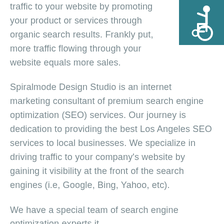[Figure (illustration): Wheelchair accessibility icon — white figure in wheelchair on teal/dark blue square background, positioned top-right corner]
traffic to your website by promoting your product or services through organic search results. Frankly put, more traffic flowing through your website equals more sales.

Spiralmode Design Studio is an internet marketing consultant of premium search engine optimization (SEO) services. Our journey is dedication to providing the best Los Angeles SEO services to local businesses. We specialize in driving traffic to your company's website by gaining it visibility at the front of the search engines (i.e, Google, Bing, Yahoo, etc).

We have a special team of search engine optimization experts it